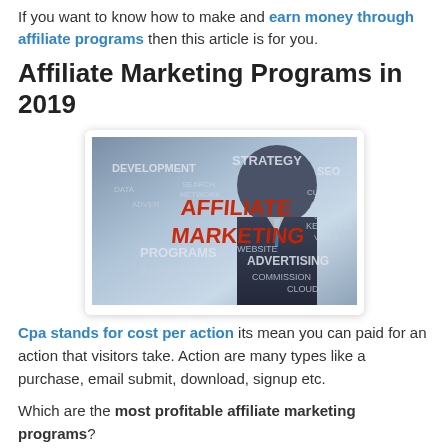If you want to know how to make and earn money through affiliate programs then this article is for you.
Affiliate Marketing Programs in 2019
[Figure (photo): A person in a business suit writing on a transparent surface. The image shows a word cloud with terms like AFFILIATE MARKETING written in red, and other words including DEVELOPMENT, STRATEGY, SEO, PROGRAMS, BUSINESS, ADVERTISING, CLOUD, COMMISSION, WEBSITE, NETWORK, etc. in grey/white.]
Cpa stands for cost per action its mean you can paid for an action that visitors take. Action are many types like a purchase, email submit, download, signup etc.
Which are the most profitable affiliate marketing programs?